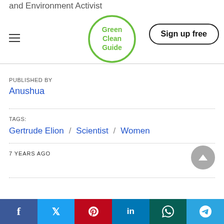and Environment Activist — Green Clean Guide — Sign up free
PUBLISHED BY
Anushua
TAGS:
Gertrude Elion / Scientist / Women
7 YEARS AGO